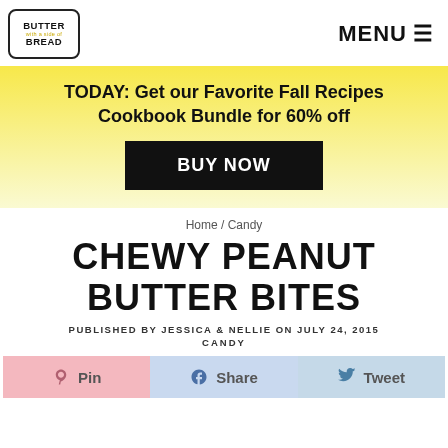BUTTER with a side of BREAD | MENU
TODAY: Get our Favorite Fall Recipes Cookbook Bundle for 60% off
BUY NOW
Home / Candy
CHEWY PEANUT BUTTER BITES
PUBLISHED BY JESSICA & NELLIE ON JULY 24, 2015
CANDY
Pin  Share  Tweet